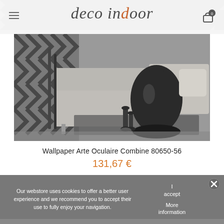deco indoor
[Figure (photo): Interior room scene with grey sofa/ottoman, black vase, candlesticks, and black-and-white chevron patterned wallpaper in the background]
Wallpaper Arte Oculaire Combine 80650-56
131,67 €
Our webstore uses cookies to offer a better user experience and we recommend you to accept their use to fully enjoy your navigation.
I accept
More information